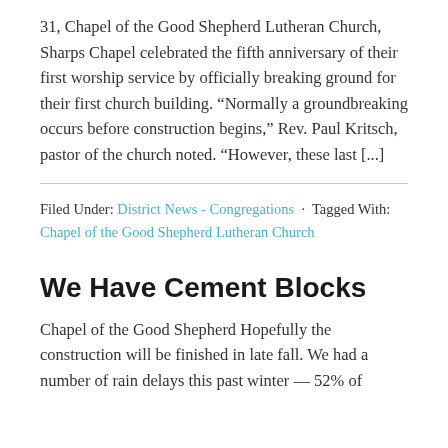31, Chapel of the Good Shepherd Lutheran Church, Sharps Chapel celebrated the fifth anniversary of their first worship service by officially breaking ground for their first church building. “Normally a groundbreaking occurs before construction begins,” Rev. Paul Kritsch, pastor of the church noted. “However, these last [...]
Filed Under: District News - Congregations · Tagged With: Chapel of the Good Shepherd Lutheran Church
We Have Cement Blocks
Chapel of the Good Shepherd Hopefully the construction will be finished in late fall. We had a number of rain delays this past winter — 52% of